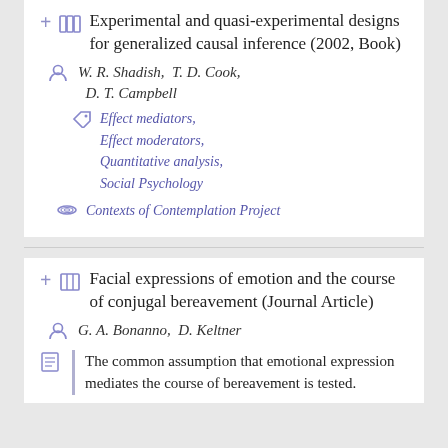Experimental and quasi-experimental designs for generalized causal inference (2002, Book)
W. R. Shadish, T. D. Cook, D. T. Campbell
Effect mediators, Effect moderators, Quantitative analysis, Social Psychology
Contexts of Contemplation Project
Facial expressions of emotion and the course of conjugal bereavement (Journal Article)
G. A. Bonanno, D. Keltner
The common assumption that emotional expression mediates the course of bereavement is tested.